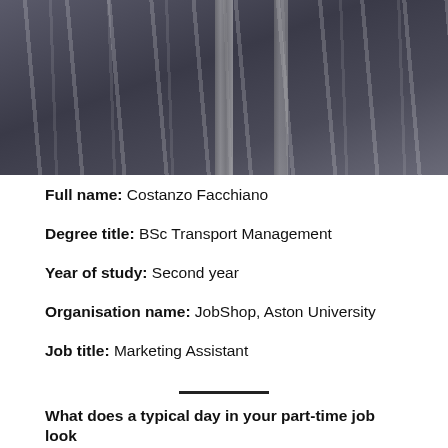[Figure (photo): Photo of a person wearing a dark striped jacket with a staff lanyard]
Full name: Costanzo Facchiano
Degree title: BSc Transport Management
Year of study: Second year
Organisation name: JobShop, Aston University
Job title: Marketing Assistant
What does a typical day in your part-time job look